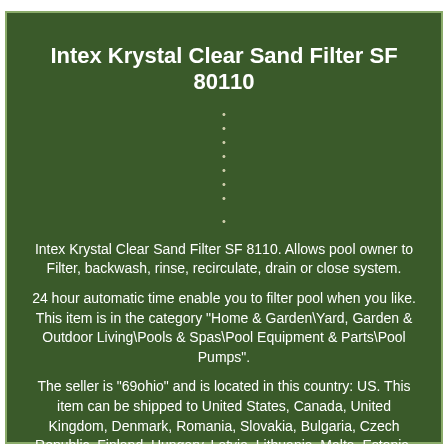Intex Krystal Clear Sand Filter SF 80110
Intex Krystal Clear Sand Filter SF 8110. Allows pool owner to Filter, backwash, rinse, recirculate, drain or close system.
24 hour automatic time enable you to filter pool when you like. This item is in the category "Home & Garden\Yard, Garden & Outdoor Living\Pools & Spas\Pool Equipment & Parts\Pool Pumps".
The seller is "69ohio" and is located in this country: US. This item can be shipped to United States, Canada, United Kingdom, Denmark, Romania, Slovakia, Bulgaria, Czech Republic, Finland, Hungary, Latvia, Lithuania, Malta, Estonia, Australia, Greece, Portugal,